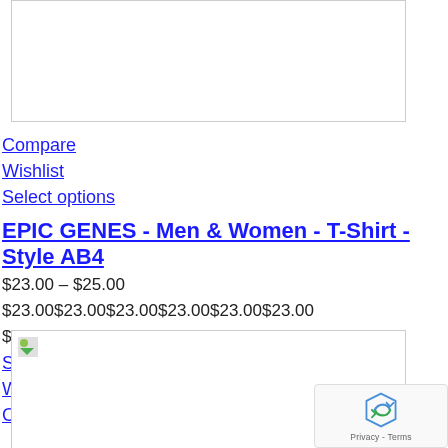[Figure (other): Product image placeholder (top), partially visible white box with border]
Compare
Wishlist
Select options
EPIC GENES - Men & Women - T-Shirt - Style AB4
$23.00 – $25.00
$23.00$23.00$23.00$23.00$23.00$23.00
$23.00 – $25.00
Select options
Wishlist
Compare
[Figure (photo): Product image placeholder (bottom) with broken image icon in top-left corner]